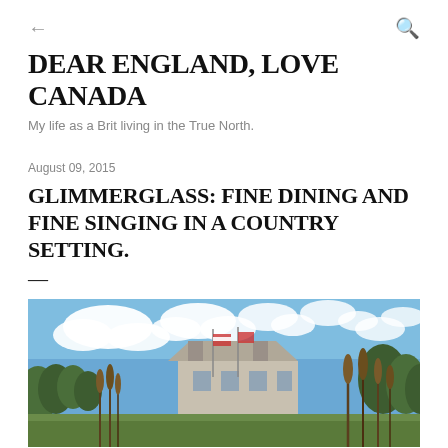← (back) | (search icon)
DEAR ENGLAND, LOVE CANADA
My life as a Brit living in the True North.
August 09, 2015
GLIMMERGLASS: FINE DINING AND FINE SINGING IN A COUNTRY SETTING.
—
[Figure (photo): Outdoor photo showing a building with flags and cattail plants in the foreground against a blue sky with clouds — appears to be the Glimmerglass Festival venue.]